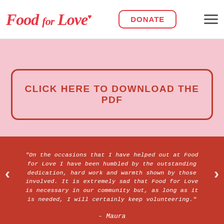[Figure (logo): Food for Love logo in red cursive/italic font with a small heart symbol]
DONATE
[Figure (illustration): Strip of food illustrations (vegetables, fruits, pastries) in sketched style on pink background]
CLICK HERE TO DOWNLOAD THE PDF
"On the occasions that I have helped out at Food for Love I have been humbled by the outstanding dedication, hard work and warmth shown by those involved. It is extremely sad that Food for Love is necessary in our community but, as long as it is needed, I will certainly keep volunteering."
- Maura